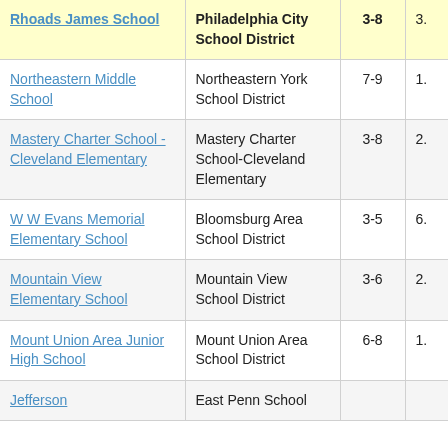| School | District | Grades |  |
| --- | --- | --- | --- |
| Rhoads James School | Philadelphia City School District | 3-8 | 3. |
| Northeastern Middle School | Northeastern York School District | 7-9 | 1. |
| Mastery Charter School - Cleveland Elementary | Mastery Charter School-Cleveland Elementary | 3-8 | 2. |
| W W Evans Memorial Elementary School | Bloomsburg Area School District | 3-5 | 6. |
| Mountain View Elementary School | Mountain View School District | 3-6 | 2. |
| Mount Union Area Junior High School | Mount Union Area School District | 6-8 | 1. |
| Jefferson | East Penn School |  |  |